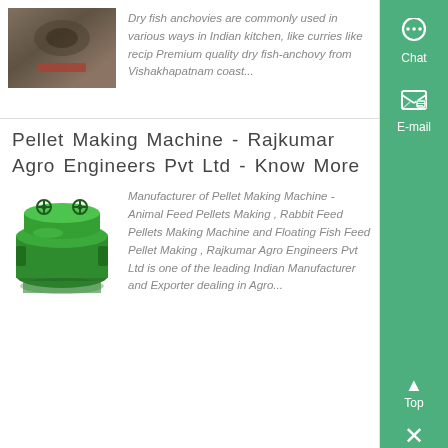[Figure (photo): Thumbnail image of dry fish product with reddish tones]
Dry fish anchovies are commonly used in various ways in Indian kitchen, like curries like recip Premium quality dry fish-anchovy from Vishakhapatnam coast...
Pellet Making Machine - Rajkumar Agro Engineers Pvt Ltd - Know More
[Figure (photo): Green pellet making machine - circular industrial equipment]
Manufacturer of Pellet Making Machine - Animal Feed Pellets Making , Rabbit Feed Pellets Making Machine and Floating Fish Feed Pellet Making , Rajkumar Agro Engineers Pvt Ltd is one of the leading Indian Manufacturer and Exporter dealing in Agro...
[Figure (illustration): Green sidebar with Chat icon, E-mail icon, Top button, and close X button]